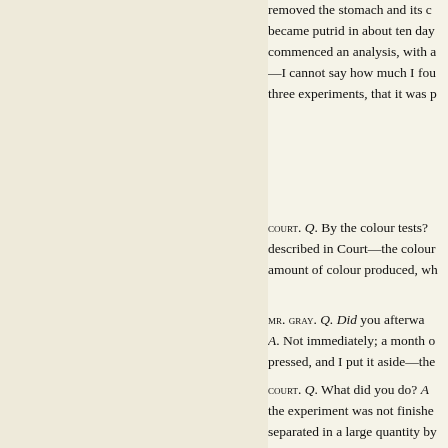removed the stomach and its contents became putrid in about ten days—commenced an analysis, with a—I cannot say how much I found three experiments, that it was p
COURT. Q. By the colour tests? described in Court—the colour amount of colour produced, wh
MR. GRAY. Q. Did you afterwa A. Not immediately; a month o pressed, and I put it aside—the
COURT. Q. What did you do? A the experiment was not finishe separated in a large quantity by
Q. I thought you said just now quantity? A. They will not give of strychnia, which will enable tell; but as to the measure and